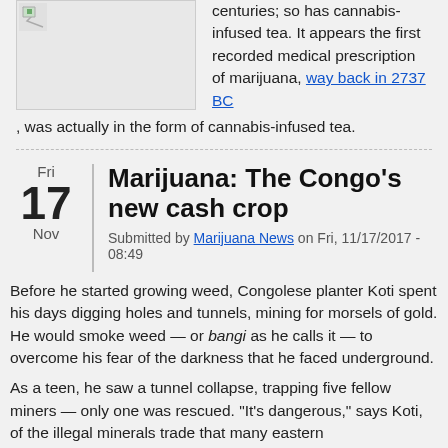[Figure (photo): Small thumbnail image with broken image icon in top-left corner, bordered box]
centuries; so has cannabis-infused tea. It appears the first recorded medical prescription of marijuana, way back in 2737 BC, was actually in the form of cannabis-infused tea.
Marijuana: The Congo's new cash crop
Submitted by Marijuana News on Fri, 11/17/2017 - 08:49
Before he started growing weed, Congolese planter Koti spent his days digging holes and tunnels, mining for morsels of gold. He would smoke weed — or bangi as he calls it — to overcome his fear of the darkness that he faced underground.
As a teen, he saw a tunnel collapse, trapping five fellow miners — only one was rescued. "It's dangerous," says Koti, of the illegal minerals trade that many eastern